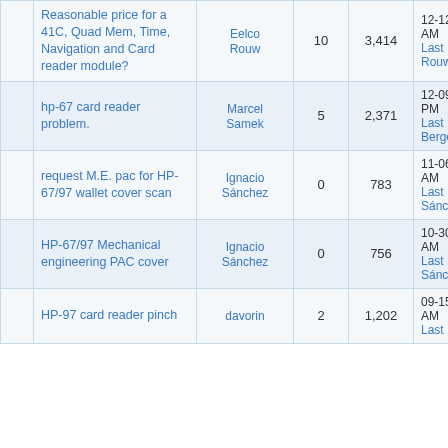|  | Thread | Author | Replies | Views | Last Post |
| --- | --- | --- | --- | --- | --- |
|  | Reasonable price for a 41C, Quad Mem, Time, Navigation and Card reader module? | Eelco Rouw | 10 | 3,414 | 12-12-2013, 01:52 AM
Last Post: Eelco Rouw |
|  | hp-67 card reader problem. | Marcel Samek | 5 | 2,371 | 12-09-2013, 09:09 PM
Last Post: Paul Berger (Canada) |
|  | request M.E. pac for HP-67/97 wallet cover scan | Ignacio Sánchez | 0 | 783 | 11-06-2013, 09:36 AM
Last Post: Ignacio Sánchez Reig |
|  | HP-67/97 Mechanical engineering PAC cover | Ignacio Sánchez | 0 | 756 | 10-30-2013, 04:35 AM
Last Post: Ignacio Sánchez Reig |
|  | HP-97 card reader pinch | davorin | 2 | 1,202 | 09-15-2013, 08:47 AM
Last Post: ai0406? |